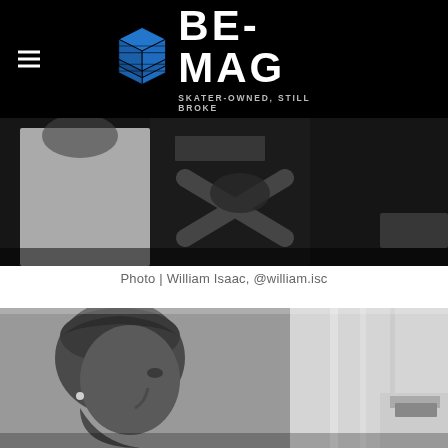BE-MAG — SKATER-OWNED, STILL BROKE
[Figure (photo): Dark black and white photo showing group of skaters, torsos visible with graphic t-shirts]
Photo | William Isaac, @william.isc
[Figure (photo): Black and white close-up photo of a person wearing a durag, profile/side angle view]